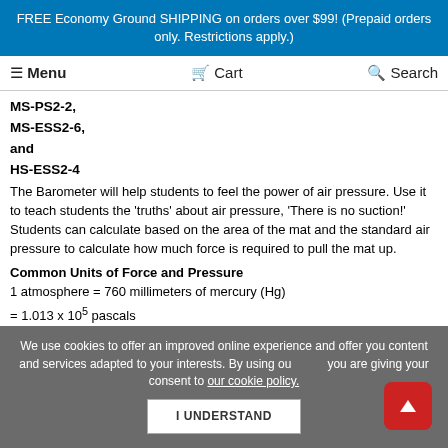FREE Economy Ground SHIPPING on orders over $99! (Prepaid orders only. Restrictions apply.)
Menu  Cart  Search
MS-PS2-2,
MS-ESS2-6,
and
HS-ESS2-4
The Barometer will help students to feel the power of air pressure. Use it to teach students the 'truths' about air pressure, 'There is no suction!' Students can calculate based on the area of the mat and the standard air pressure to calculate how much force is required to pull the mat up.
Common Units of Force and Pressure
1 atmosphere = 760 millimeters of mercury (Hg)
= 1.013 x 105 pascals
= 14.70 pounds per square inch
1 torr = 1 millimeter of mercury (Hg)
We use cookies to offer an improved online experience and offer you content and services adapted to your interests. By using our site, you are giving your consent to our cookie policy.